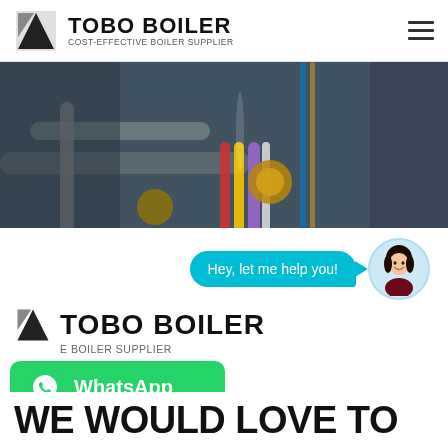TOBO BOILER — COST-EFFECTIVE BOILER SUPPLIER
[Figure (photo): Close-up photo of industrial boiler pipes and fittings in a workshop, showing colored tubes (red, yellow, purple) and brass fittings against a dark background.]
[Figure (screenshot): Chat widget popup with avatar of a smiling woman and speech bubble saying 'Hey, let me help you!']
[Figure (logo): TOBO BOILER logo with geometric icon — COST-EFFECTIVE BOILER SUPPLIER]
[Figure (logo): WhatsApp green button with WhatsApp icon and text 'WhatsApp']
WE WOULD LOVE TO